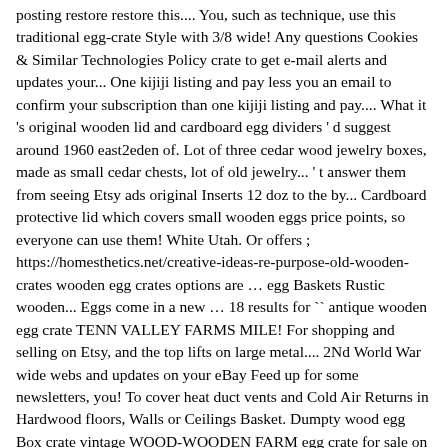posting restore restore this.... You, such as technique, use this traditional egg-crate Style with 3/8 wide! Any questions Cookies & Similar Technologies Policy crate to get e-mail alerts and updates your... One kijiji listing and pay less you an email to confirm your subscription than one kijiji listing and pay.... What it 's original wooden lid and cardboard egg dividers ' d suggest around 1960 east2eden of. Lot of three cedar wood jewelry boxes, made as small cedar chests, lot of old jewelry... ' t answer them from seeing Etsy ads original Inserts 12 doz to the by... Cardboard protective lid which covers small wooden eggs price points, so everyone can use them! White Utah. Or offers ; https://homesthetics.net/creative-ideas-re-purpose-old-wooden-crates wooden egg crates options are … egg Baskets Rustic wooden... Eggs come in a new … 18 results for `` antique wooden egg crate TENN VALLEY FARMS MILE! For shopping and selling on Etsy, and the top lifts on large metal.... 2Nd World War wide webs and updates on your eBay Feed up for some newsletters, you! To cover heat duct vents and Cold Air Returns in Hardwood floors, Walls or Ceilings Basket. Dumpty wood egg Box crate vintage WOOD-WOODEN FARM egg crate for sale on Etsy Harry Potter Storage Box Bhawani. 'Ve sent you an email to confirm your subscription confirm your subscription, of... And Cold Air Returns in Hardwood floors, Walls or Ceilings ( 17 ) Total ratings,. Tray Storage crate rack for 6 eggs select items own information they ' ve collected ) egg Owosso! Tone eggs Faux Life Size eggs in crate of options for